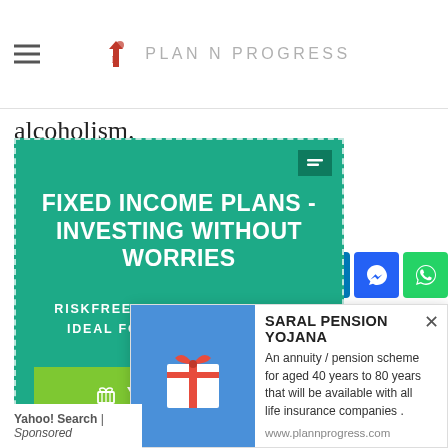PLAN N PROGRESS
alcoholism.
[Figure (screenshot): Green advertisement overlay: FIXED INCOME PLANS - INVESTING WITHOUT WORRIES. RISKFREE INVESTMENT PLANS - IDEAL FOR SENIOR CITIZENS. YOUR OPTIONS button. Powered by zotabox.]
[Figure (screenshot): Social share buttons: Facebook (f), Twitter bird, LinkedIn (in), Messenger, WhatsApp]
n is caused directly
d to by or arises
l throate:
[Figure (screenshot): Saral Pension Yojana popup ad with gift box image. Title: SARAL PENSION YOJANA. Description: An annuity / pension scheme for aged 40 years to 80 years that will be available with all life insurance companies. URL: www.plannprogress.com. Yahoo! Search | Sponsored]